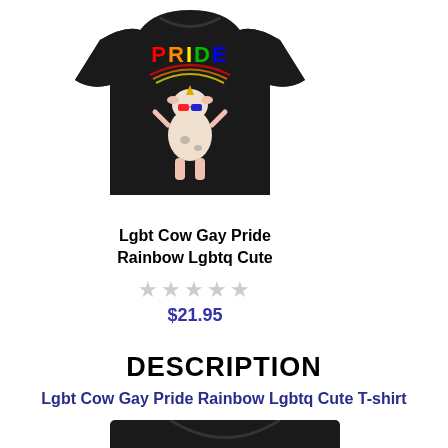[Figure (photo): Black long-sleeve t-shirt with colorful 'PRIDE' text and a cute cartoon cow wearing rainbow sunglasses graphic on front]
Lgbt Cow Gay Pride Rainbow Lgbtq Cute
★★★★★ (empty stars rating)
$21.95
DESCRIPTION
Lgbt Cow Gay Pride Rainbow Lgbtq Cute T-shirt
[Figure (photo): Partial black t-shirt visible at bottom of page]